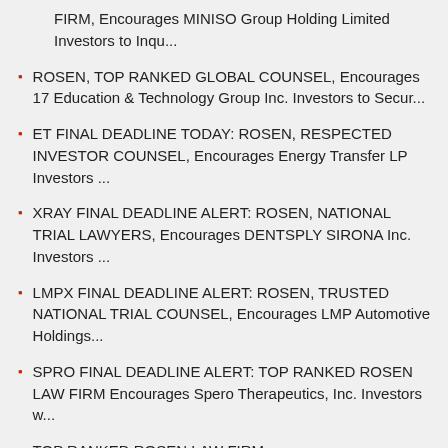FIRM, Encourages MINISO Group Holding Limited Investors to Inqu...
ROSEN, TOP RANKED GLOBAL COUNSEL, Encourages 17 Education & Technology Group Inc. Investors to Secur...
ET FINAL DEADLINE TODAY: ROSEN, RESPECTED INVESTOR COUNSEL, Encourages Energy Transfer LP Investors ...
XRAY FINAL DEADLINE ALERT: ROSEN, NATIONAL TRIAL LAWYERS, Encourages DENTSPLY SIRONA Inc. Investors ...
LMPX FINAL DEADLINE ALERT: ROSEN, TRUSTED NATIONAL TRIAL COUNSEL, Encourages LMP Automotive Holdings...
SPRO FINAL DEADLINE ALERT: TOP RANKED ROSEN LAW FIRM Encourages Spero Therapeutics, Inc. Investors w...
TOP RANKED ROSEN LAW FIRM